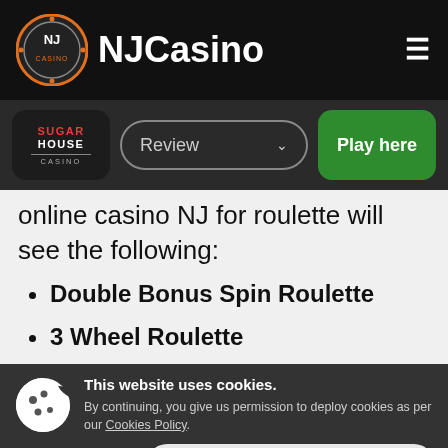NJCasino
[Figure (logo): SugarHouse Casino logo badge with Review dropdown and Play here button]
online casino NJ for roulette will see the following:
Double Bonus Spin Roulette
3 Wheel Roulette
This website uses cookies. By continuing, you give us permission to deploy cookies as per our Cookies Policy.
Close and Decline   Close and Accept